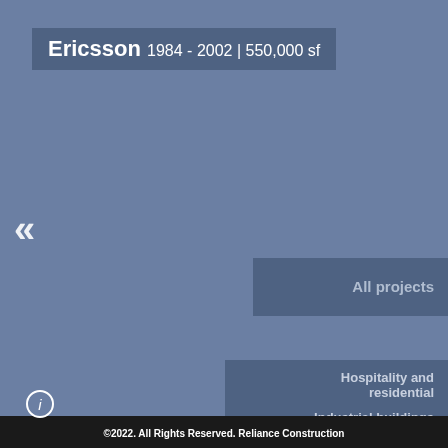Ericsson 1984 - 2002 | 550,000 sf
[Figure (other): Left-pointing double chevron navigation arrow (white, large)]
All projects
Hospitality and residential
Industrial buildings
Advanced technology
©2022. All Rights Reserved. Reliance Construction
[Figure (other): Info icon circle with letter i]